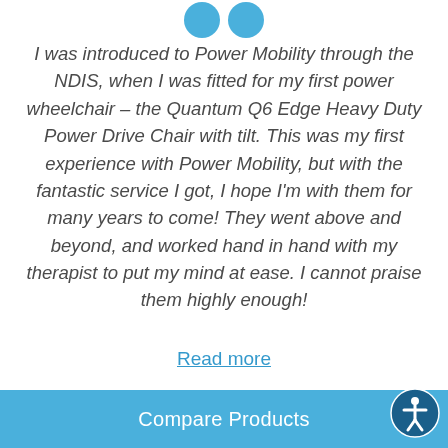[Figure (illustration): Two blue quotation mark circles at the top of the page]
I was introduced to Power Mobility through the NDIS, when I was fitted for my first power wheelchair – the Quantum Q6 Edge Heavy Duty Power Drive Chair with tilt. This was my first experience with Power Mobility, but with the fantastic service I got, I hope I'm with them for many years to come! They went above and beyond, and worked hand in hand with my therapist to put my mind at ease. I cannot praise them highly enough!
Read more
Compare Products